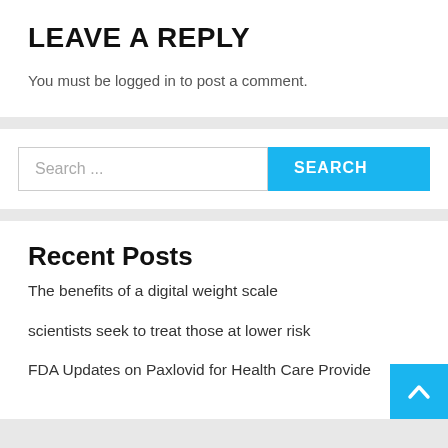LEAVE A REPLY
You must be logged in to post a comment.
Search ...
Recent Posts
The benefits of a digital weight scale
scientists seek to treat those at lower risk
FDA Updates on Paxlovid for Health Care Providers